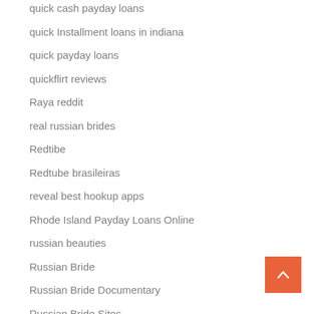quick cash payday loans
quick Installment loans in indiana
quick payday loans
quickflirt reviews
Raya reddit
real russian brides
Redtibe
Redtube brasileiras
reveal best hookup apps
Rhode Island Payday Loans Online
russian beauties
Russian Bride
Russian Bride Documentary
Russian Bride Sites
Russian Brides
Russian Brides Foto